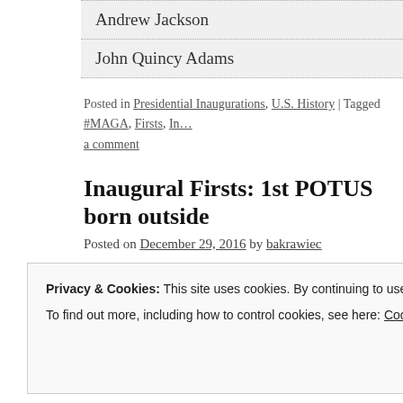Andrew Jackson
John Quincy Adams
Posted in Presidential Inaugurations, U.S. History | Tagged #MAGA, Firsts, In… a comment
Inaugural Firsts: 1st POTUS born outside
Posted on December 29, 2016 by bakrawiec
Privacy & Cookies: This site uses cookies. By continuing to use this website, you agree to their use.
To find out more, including how to control cookies, see here: Cookie Policy
Close and accept